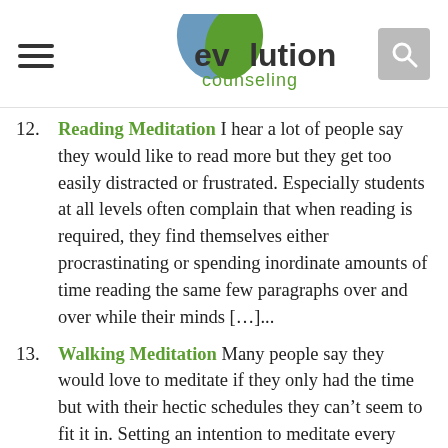Evolution Counseling
12. Reading Meditation I hear a lot of people say they would like to read more but they get too easily distracted or frustrated. Especially students at all levels often complain that when reading is required, they find themselves either procrastinating or spending inordinate amounts of time reading the same few paragraphs over and over while their minds [...]...
13. Walking Meditation Many people say they would love to meditate if they only had the time but with their hectic schedules they can't seem to fit it in. Setting an intention to meditate every time you walk during your workday is an excellent place to start if you feel too pressed for time. If there are short [...]...
14. Meditation Many people have difficulty living spontaneously in the moment. They are focused on the